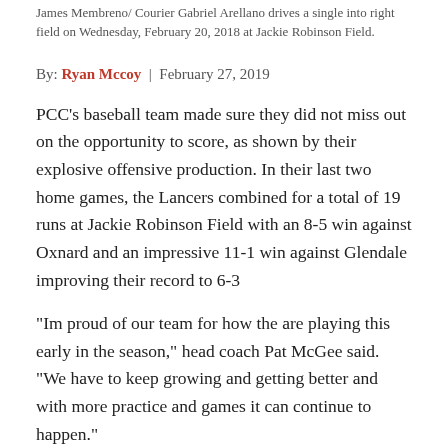James Membreno/ Courier Gabriel Arellano drives a single into right field on Wednesday, February 20, 2018 at Jackie Robinson Field.
By: Ryan Mccoy  |  February 27, 2019
PCC’s baseball team made sure they did not miss out on the opportunity to score, as shown by their explosive offensive production. In their last two home games, the Lancers combined for a total of 19 runs at Jackie Robinson Field with an 8-5 win against Oxnard and an impressive 11-1 win against Glendale improving their record to 6-3
“Im proud of our team for how the are playing this early in the season,” head coach Pat McGee said. “We have to keep growing and getting better and with more practice and games it can continue to happen.”